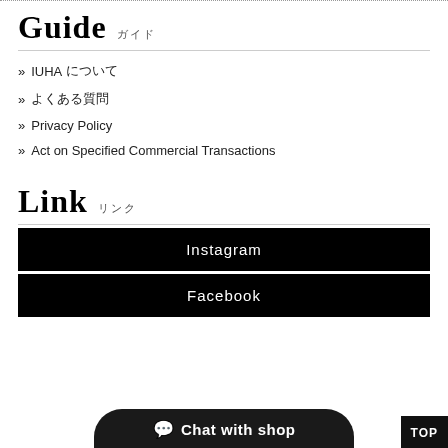Guide　ガイド
» IUHAについて
» よくある質問
» Privacy Policy
» Act on Specified Commercial Transactions
Link　リンク
Instagram
Facebook
Chat with shop
TOP